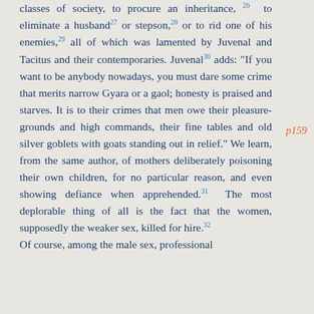classes of society, to procure an inheritance, 26 to eliminate a husband 27 or stepson, 28 or to rid one of his enemies, 29 all of which was lamented by Juvenal and Tacitus and their contemporaries. Juvenal 30 adds: "If you want to be anybody nowadays, you must dare some crime that merits narrow Gyara or a gaol; honesty is praised and starves. It is to their crimes that men owe their pleasure-grounds and high commands, their fine tables and old silver goblets with goats standing out in relief." We learn, from the same author, of mothers deliberately poisoning their own children, for no particular reason, and even showing defiance when apprehended. 31 The most deplorable thing of all is the fact that the women, supposedly the weaker sex, killed for hire. 32 Of course, among the male sex, professional
p159